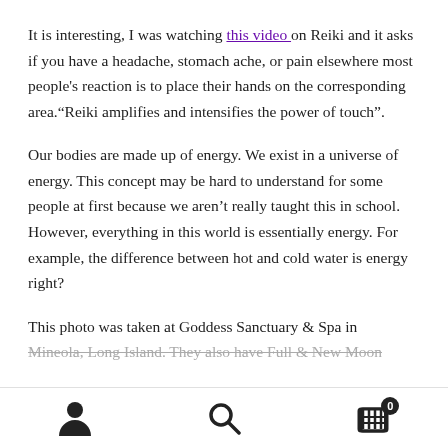It is interesting, I was watching this video on Reiki and it asks if you have a headache, stomach ache, or pain elsewhere most people's reaction is to place their hands on the corresponding area.“Reiki amplifies and intensifies the power of touch”.
Our bodies are made up of energy. We exist in a universe of energy. This concept may be hard to understand for some people at first because we aren’t really taught this in school. However, everything in this world is essentially energy. For example, the difference between hot and cold water is energy right?
This photo was taken at Goddess Sanctuary & Spa in Mineola, Long Island. They also have Full & New Moon